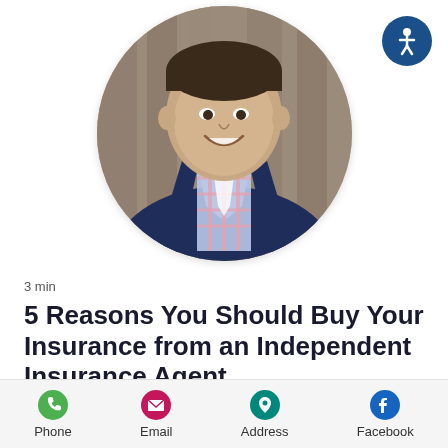[Figure (photo): Circular headshot of a smiling man in a navy suit and blue/pink plaid shirt, with a wooden background. Accessibility icon in top right corner.]
3 min
5 Reasons You Should Buy Your Insurance from an Independent Insurance Agent
Independent Agents do not work for any
Phone  Email  Address  Facebook